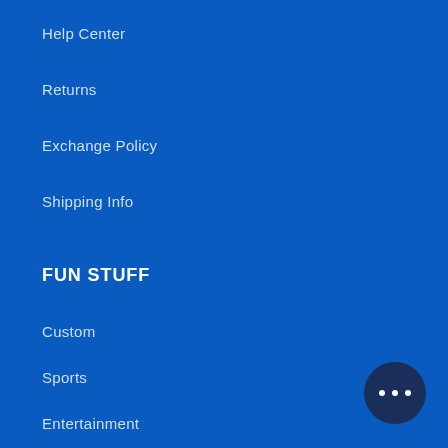Help Center
Returns
Exchange Policy
Shipping Info
FUN STUFF
Custom
Sports
Entertainment
Top Sellers
[Figure (illustration): Chat/messaging button icon with three dots, circular dark blue button in bottom right corner]